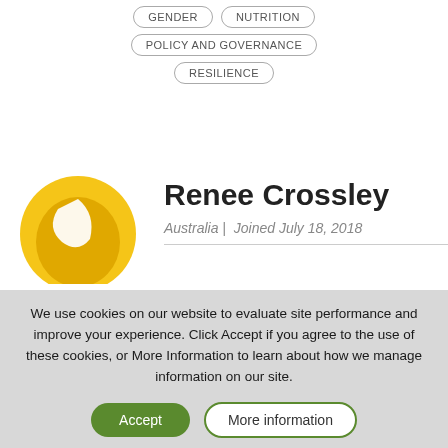GENDER
NUTRITION
POLICY AND GOVERNANCE
RESILIENCE
Renee Crossley
Australia | Joined July 18, 2018
We use cookies on our website to evaluate site performance and improve your experience. Click Accept if you agree to the use of these cookies, or More Information to learn about how we manage information on our site.